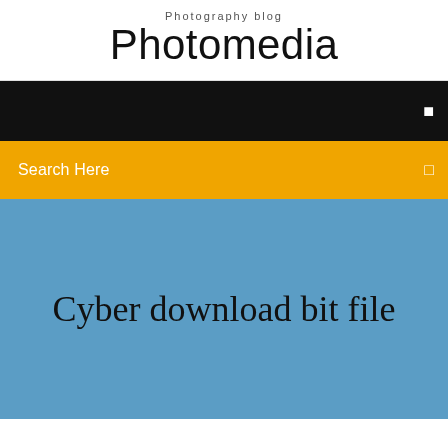Photography blog
Photomedia
[Figure (screenshot): Black navigation bar with a white menu icon on the right side]
[Figure (screenshot): Gold/yellow search bar with 'Search Here' text on the left and a white grid icon on the right]
Cyber download bit file